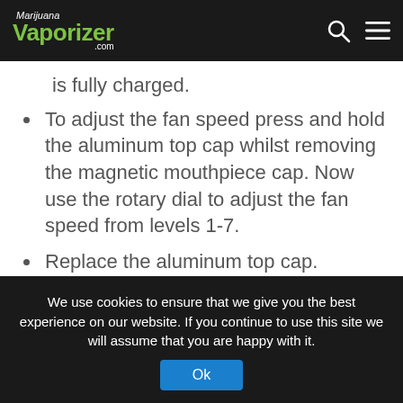Marijuana Vaporizer .com
is fully charged.
To adjust the fan speed press and hold the aluminum top cap whilst removing the magnetic mouthpiece cap. Now use the rotary dial to adjust the fan speed from levels 1-7.
Replace the aluminum top cap.
To load the PUFFiT X Vaporizer, pull off the mouthpiece cover and remove the aluminum top cap. Place your chosen blend into the filling chamber.
We use cookies to ensure that we give you the best experience on our website. If you continue to use this site we will assume that you are happy with it.